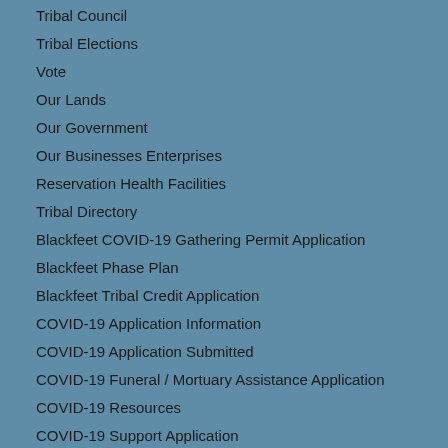Tribal Council
Tribal Elections
Vote
Our Lands
Our Government
Our Businesses Enterprises
Reservation Health Facilities
Tribal Directory
Blackfeet COVID-19 Gathering Permit Application
Blackfeet Phase Plan
Blackfeet Tribal Credit Application
COVID-19 Application Information
COVID-19 Application Submitted
COVID-19 Funeral / Mortuary Assistance Application
COVID-19 Resources
COVID-19 Support Application
DRAFT: COVID-19 Resources Redo